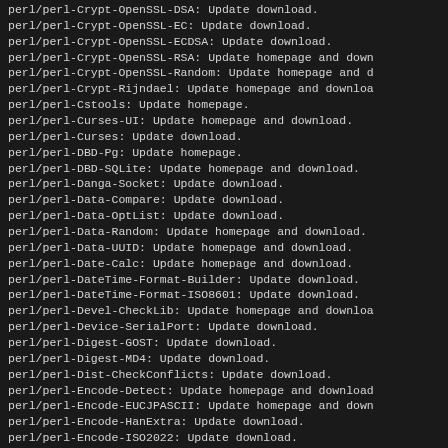perl/perl-Crypt-OpenSSL-DSA: Update download.
perl/perl-Crypt-OpenSSL-EC: Update download.
perl/perl-Crypt-OpenSSL-ECDSA: Update download.
perl/perl-Crypt-OpenSSL-RSA: Update homepage and download.
perl/perl-Crypt-OpenSSL-Random: Update homepage and download.
perl/perl-Crypt-Rijndael: Update homepage and download.
perl/perl-Cstools: Update homepage.
perl/perl-Curses-UI: Update homepage and download.
perl/perl-Curses: Update download.
perl/perl-DBD-Pg: Update homepage.
perl/perl-DBD-SQLite: Update homepage and download.
perl/perl-Danga-Socket: Update download.
perl/perl-Data-Compare: Update download.
perl/perl-Data-OptList: Update download.
perl/perl-Data-Random: Update homepage and download.
perl/perl-Data-UUID: Update homepage and download.
perl/perl-Date-Calc: Update homepage and download.
perl/perl-DateTime-Format-Builder: Update download.
perl/perl-DateTime-Format-ISO8601: Update download.
perl/perl-Devel-CheckLib: Update homepage and download.
perl/perl-Device-SerialPort: Update download.
perl/perl-Digest-GOST: Update download.
perl/perl-Digest-MD4: Update download.
perl/perl-Dist-CheckConflicts: Update download.
perl/perl-Encode-Detect: Update homepage and download.
perl/perl-Encode-EUCJPASCII: Update homepage and download.
perl/perl-Encode-HanExtra: Update download.
perl/perl-Encode-ISO2022: Update download.
perl/perl-Encode-JISX0213: Update homepage and download.
perl/perl-Exporter-Tiny: Update homepage and download.
perl/perl-ExtUtils-XSBuilder: Update homepage and download.